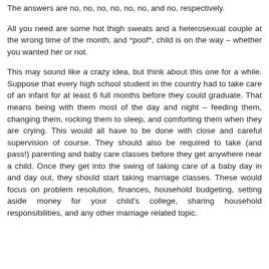The answers are no, no, no, no, no, no, and no, respectively.
All you need are some hot thigh sweats and a heterosexual couple at the wrong time of the month, and *poof*, child is on the way – whether you wanted her or not.
This may sound like a crazy idea, but think about this one for a while. Suppose that every high school student in the country had to take care of an infant for at least 6 full months before they could graduate. That means being with them most of the day and night – feeding them, changing them, rocking them to sleep, and comforting them when they are crying. This would all have to be done with close and careful supervision of course. They should also be required to take (and pass!) parenting and baby care classes before they get anywhere near a child. Once they get into the swing of taking care of a baby day in and day out, they should start taking marriage classes. These would focus on problem resolution, finances, household budgeting, setting aside money for your child's college, sharing household responsibilities, and any other marriage related topic.